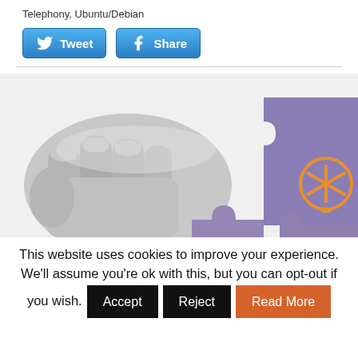Telephony, Ubuntu/Debian
[Figure (screenshot): Tweet and Share social media buttons with Twitter and Facebook icons]
[Figure (photo): Black and white photo of a hand holding puzzle pieces, with purple puzzle pieces featuring an orange asterisk/speech bubble logo on the right]
This website uses cookies to improve your experience. We'll assume you're ok with this, but you can opt-out if you wish. Accept Reject Read More